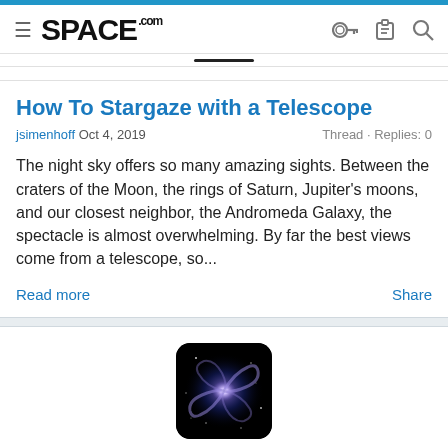SPACE.com
How To Stargaze with a Telescope
jsimenhoff Oct 4, 2019   Thread · Replies: 0
The night sky offers so many amazing sights. Between the craters of the Moon, the rings of Saturn, Jupiter's moons, and our closest neighbor, the Andromeda Galaxy, the spectacle is almost overwhelming. By far the best views come from a telescope, so...
Read more    Share
[Figure (photo): Spiral galaxy image with blue/purple glow on black background]
How to Stargaze without a Telescope